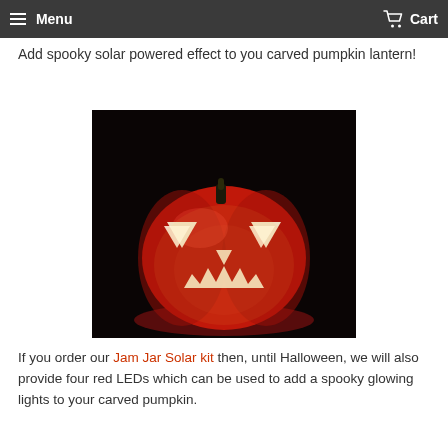Menu  Cart
Add spooky solar powered effect to you carved pumpkin lantern!
[Figure (photo): A carved jack-o-lantern pumpkin glowing with red LED light in a dark background, with white light showing through the carved face features.]
If you order our Jam Jar Solar kit then, until Halloween, we will also provide four red LEDs which can be used to add a spooky glowing lights to your carved pumpkin.